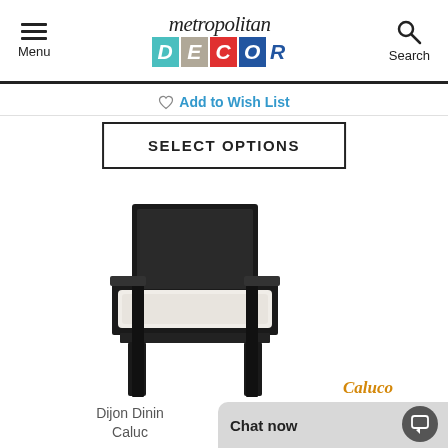Metropolitan Decor — Menu | Search
♡ Add to Wish List
SELECT OPTIONS
[Figure (photo): Black wicker/rattan dining armchair with white cushion seat, Caluco brand product photo on white background]
Caluco
Dijon Dining ... Caluc...
Chat now